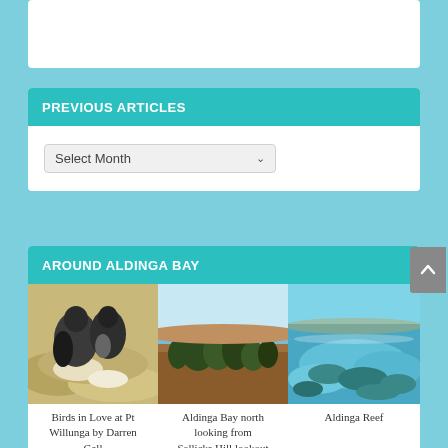PREVIOUS ARTICLES
Select Month
AROUND ALDINGA BAY
[Figure (photo): Three thumbnail photos side by side: a bird photo (Birds in Love at Pt Willunga by Darren Gall), a landscape/lookout photo (Aldinga Bay north looking from Sellicks Hill lookout), and a reef/water photo (Aldinga Reef)]
Birds in Love at Pt Willunga by Darren Gall
Aldinga Bay north looking from Sellicks Hill lookout
Aldinga Reef